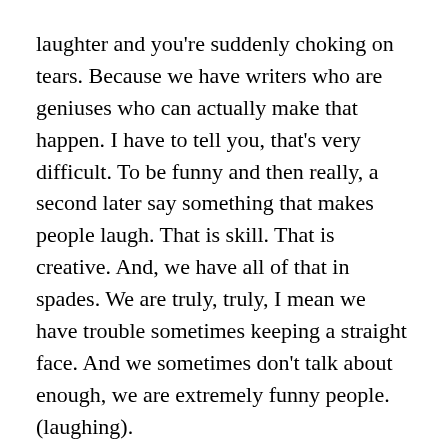laughter and you're suddenly choking on tears. Because we have writers who are geniuses who can actually make that happen. I have to tell you, that's very difficult. To be funny and then really, a second later say something that makes people laugh. That is skill. That is creative. And, we have all of that in spades. We are truly, truly, I mean we have trouble sometimes keeping a straight face. And we sometimes don't talk about enough, we are extremely funny people. (laughing).